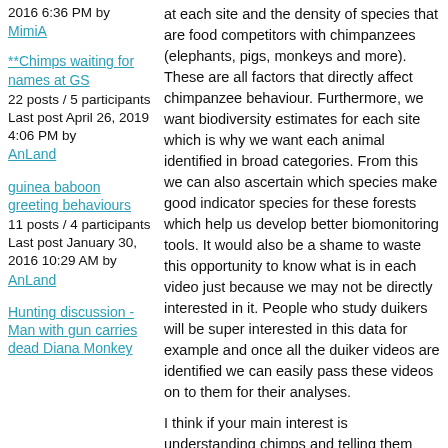2016 6:36 PM by MimiA
**Chimps waiting for names at GS
22 posts / 5 participants
Last post April 26, 2019 4:06 PM by AnLand
guinea baboon greeting behaviours
11 posts / 4 participants
Last post January 30, 2016 10:29 AM by AnLand
Hunting discussion - Man with gun carries dead Diana Monkey
at each site and the density of species that are food competitors with chimpanzees (elephants, pigs, monkeys and more). These are all factors that directly affect chimpanzee behaviour. Furthermore, we want biodiversity estimates for each site which is why we want each animal identified in broad categories. From this we can also ascertain which species make good indicator species for these forests which help us develop better biomonitoring tools. It would also be a shame to waste this opportunity to know what is in each video just because we may not be directly interested in it. People who study duikers will be super interested in this data for example and once all the duiker videos are identified we can easily pass these videos on to them for their analyses.
I think if your main interest is understanding chimps and telling them apart, heading to the chimp ID boards is the place for you. This is basically where